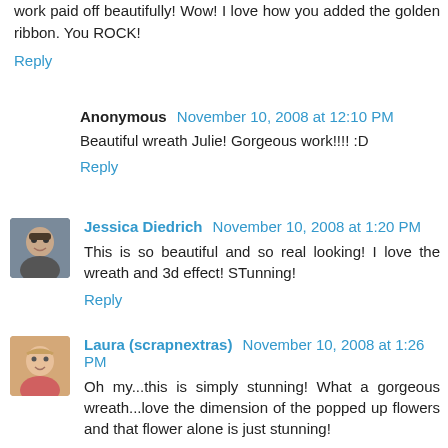work paid off beautifully! Wow! I love how you added the golden ribbon. You ROCK!
Reply
Anonymous  November 10, 2008 at 12:10 PM
Beautiful wreath Julie! Gorgeous work!!!! :D
Reply
Jessica Diedrich  November 10, 2008 at 1:20 PM
This is so beautiful and so real looking! I love the wreath and 3d effect! STunning!
Reply
Laura (scrapnextras)  November 10, 2008 at 1:26 PM
Oh my...this is simply stunning! What a gorgeous wreath...love the dimension of the popped up flowers and that flower alone is just stunning!